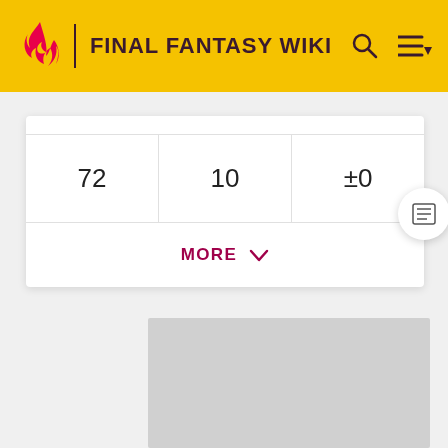FINAL FANTASY WIKI
| 72 | 10 | ±0 |
MORE ∨
[Figure (photo): Gray image placeholder area]